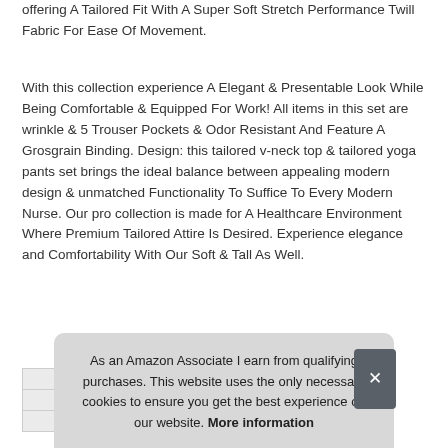offering A Tailored Fit With A Super Soft Stretch Performance Twill Fabric For Ease Of Movement.
With this collection experience A Elegant & Presentable Look While Being Comfortable & Equipped For Work! All items in this set are wrinkle & 5 Trouser Pockets & Odor Resistant And Feature A Grosgrain Binding. Design: this tailored v-neck top & tailored yoga pants set brings the ideal balance between appealing modern design & unmatched Functionality To Suffice To Every Modern Nurse. Our pro collection is made for A Healthcare Environment Where Premium Tailored Attire Is Desired. Experience elegance and Comfortability With Our Soft & Tall As Well.
As an Amazon Associate I earn from qualifying purchases. This website uses the only necessary cookies to ensure you get the best experience on our website. More information